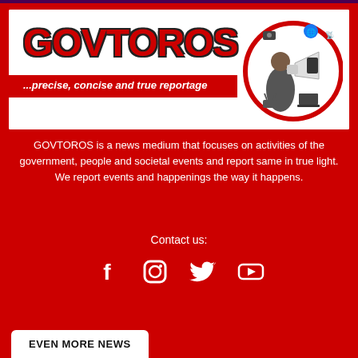[Figure (logo): GOVTOROS news media logo banner with tagline '...precise, concise and true reportage' and illustration of man with megaphone surrounded by communication icons in a red circle]
GOVTOROS is a news medium that focuses on activities of the government, people and societal events and report same in true light. We report events and happenings the way it happens.
Contact us:
[Figure (infographic): Social media icons: Facebook, Instagram, Twitter, YouTube]
EVEN MORE NEWS